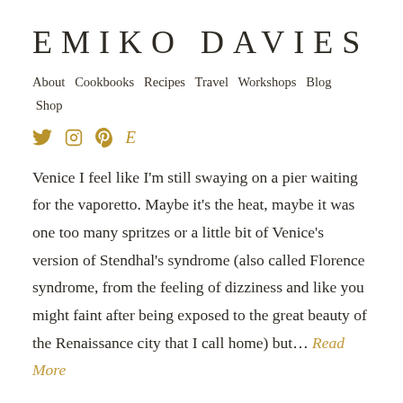EMIKO DAVIES
About  Cookbooks  Recipes  Travel  Workshops  Blog  Shop
[Figure (other): Social media icons: Twitter (bird), Instagram (camera circle), Pinterest (P), Etsy (E) in gold color]
Venice I feel like I'm still swaying on a pier waiting for the vaporetto. Maybe it's the heat, maybe it was one too many spritzes or a little bit of Venice's version of Stendhal's syndrome (also called Florence syndrome, from the feeling of dizziness and like you might faint after being exposed to the great beauty of the Renaissance city that I call home) but… Read More